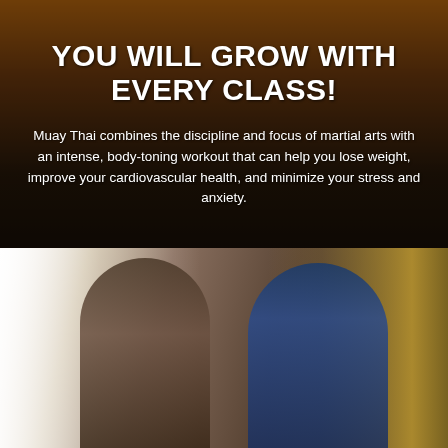YOU WILL GROW WITH EVERY CLASS!
Muay Thai combines the discipline and focus of martial arts with an intense, body-toning workout that can help you lose weight, improve your cardiovascular health, and minimize your stress and anxiety.
[Figure (photo): Two people in a gym; a man on the left and a woman on the right wearing boxing gloves, sparring or training. Gym equipment and yellow accents visible in background.]